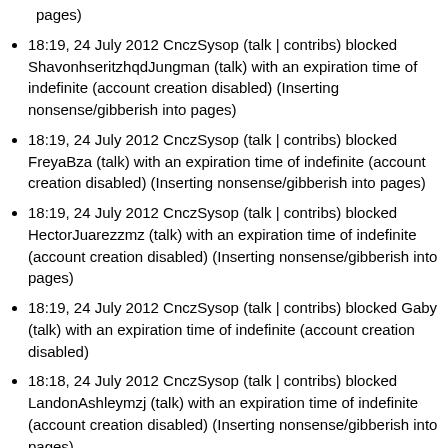pages)
18:19, 24 July 2012 CnczSysop (talk | contribs) blocked ShavonhseritzhqdJungman (talk) with an expiration time of indefinite (account creation disabled) (Inserting nonsense/gibberish into pages)
18:19, 24 July 2012 CnczSysop (talk | contribs) blocked FreyaBza (talk) with an expiration time of indefinite (account creation disabled) (Inserting nonsense/gibberish into pages)
18:19, 24 July 2012 CnczSysop (talk | contribs) blocked HectorJuarezzmz (talk) with an expiration time of indefinite (account creation disabled) (Inserting nonsense/gibberish into pages)
18:19, 24 July 2012 CnczSysop (talk | contribs) blocked Gaby (talk) with an expiration time of indefinite (account creation disabled)
18:18, 24 July 2012 CnczSysop (talk | contribs) blocked LandonAshleymzj (talk) with an expiration time of indefinite (account creation disabled) (Inserting nonsense/gibberish into pages)
18:18, 24 July 2012 CnczSysop (talk | contribs) blocked